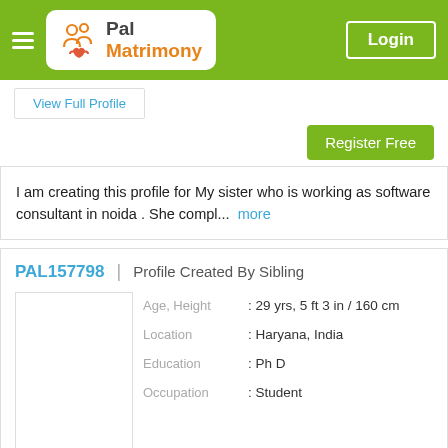Pal Matrimony | Login
View Full Profile
Register Free
I am creating this profile for My sister who is working as software consultant in noida . She compl... more
PAL157798 | Profile Created By Sibling
Age, Height : 29 yrs, 5 ft 3 in / 160 cm
Location : Haryana, India
Education : Ph D
Occupation : Student
View Full Profile
Register Free
My name is Rashmi. I have completed my Ph.D.. I grew up in a Middle Class, Nuclear family.